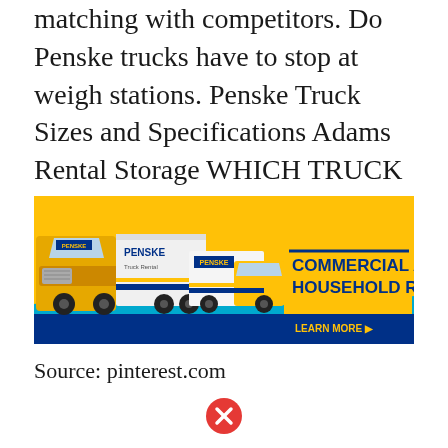matching with competitors. Do Penske trucks have to stop at weigh stations. Penske Truck Sizes and Specifications Adams Rental Storage WHICH TRUCK IS RIGHT FOR YOU.
[Figure (photo): Penske Truck Rental advertisement banner showing yellow Penske trucks (a semi-truck and a moving truck) on a yellow background with text 'COMMERCIAL AND HOUSEHOLD RENTALS' and 'LEARN MORE' button at bottom right]
Source: pinterest.com